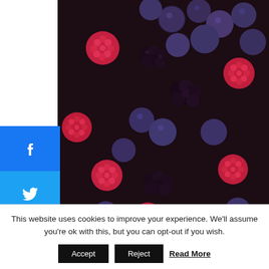[Figure (photo): Close-up photo of mixed berries including raspberries, blueberries, and blackberries]
TASMANIA FRUIT FARMS
This website uses cookies to improve your experience. We'll assume you're ok with this, but you can opt-out if you wish.
Accept   Reject   Read More